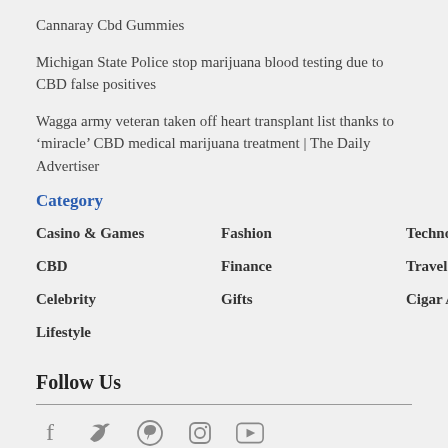Cannaray Cbd Gummies
Michigan State Police stop marijuana blood testing due to CBD false positives
Wagga army veteran taken off heart transplant list thanks to ‘miracle’ CBD medical marijuana treatment | The Daily Advertiser
Category
Casino & Games
Fashion
Technology
CBD
Finance
Travel
Celebrity
Gifts
Cigar Accessories
Lifestyle
Follow Us
[Figure (infographic): Social media icons: Facebook, Twitter, Pinterest, Instagram, YouTube]